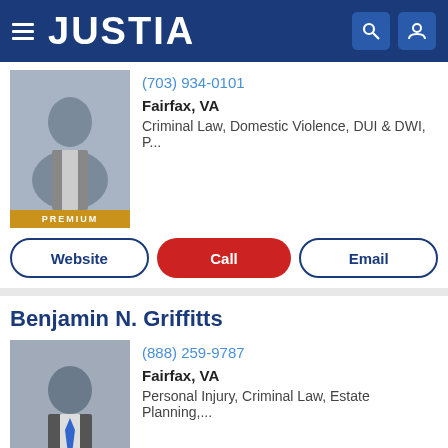JUSTIA
(703) 934-0101
Fairfax, VA
Criminal Law, Domestic Violence, DUI & DWI, P...
Website | Call | Email
Benjamin N. Griffitts
(888) 259-9787
Fairfax, VA
Personal Injury, Criminal Law, Estate Planning,...
Website | Call | Email